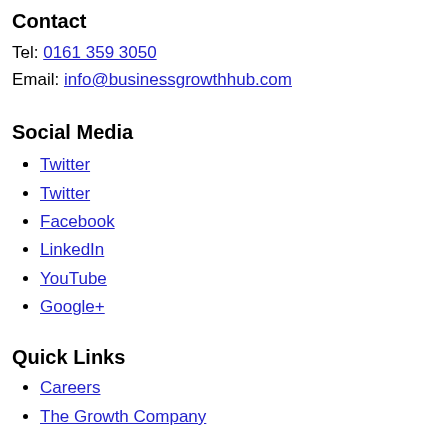Contact
Tel: 0161 359 3050
Email: info@businessgrowthhub.com
Social Media
Twitter
Facebook
LinkedIn
YouTube
Google+
Quick Links
Careers
The Growth Company